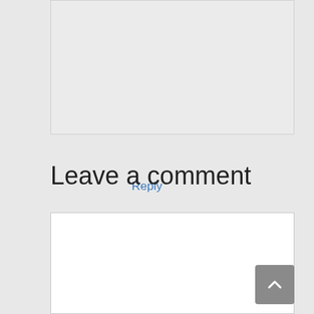really was a brilliant bonding experience for us. I'm definitely thinking of another one.
Reply
Leave a comment
[Figure (screenshot): Empty white text area input box for comment entry]
[Figure (other): Scroll to top button with upward arrow chevron]